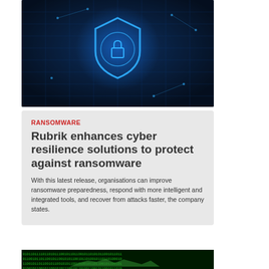[Figure (photo): Cybersecurity themed hero image with glowing blue shield lock icon on a dark blue digital circuit board background]
RANSOMWARE
Rubrik enhances cyber resilience solutions to protect against ransomware
With this latest release, organisations can improve ransomware preparedness, respond with more intelligent and integrated tools, and recover from attacks faster, the company states.
[Figure (photo): Dark green matrix-style binary code background with partial map or chart silhouette visible]